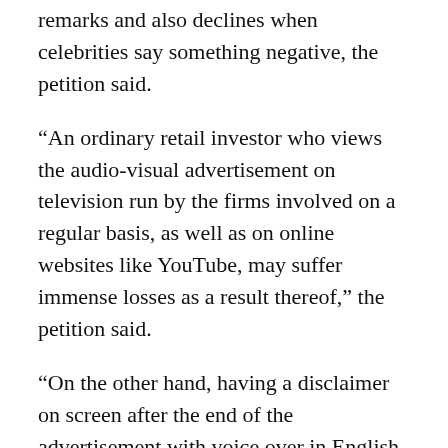remarks and also declines when celebrities say something negative, the petition said.
“An ordinary retail investor who views the audio-visual advertisement on television run by the firms involved on a regular basis, as well as on online websites like YouTube, may suffer immense losses as a result thereof,” the petition said.
“On the other hand, having a disclaimer on screen after the end of the advertisement with voice over in English and Hindi (as may be appropriate) and correct placing and at least 80 percent coverage in terms of the size on the screen to be viewable and readable by the investor, may instill wisdom of researching and reading up on the risk profiles surrounding crypto assets prior to investing his hard-earned money in digital assets not